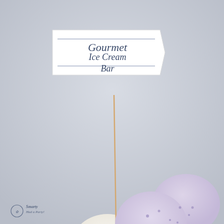[Figure (photo): A gourmet ice cream bar setup on a light gray surface. Three servings of ice cream are displayed: a rectangular glass tray with scoops of white vanilla ice cream topped with chopped nuts and a small flag sign reading 'Gourmet Ice Cream Bar' on a wooden stick with fresh mint leaves, a round glass pedestal bowl with lavender/blueberry ice cream scoops garnished with fresh blackberries and a decorative silver spoon, and a round bowl in the foreground with pale mint green ice cream topped with chocolate and pistachio bits. The background is a soft grayish-blue. A small 'Smarty Had a Party!' logo/watermark appears in the bottom-left corner.]